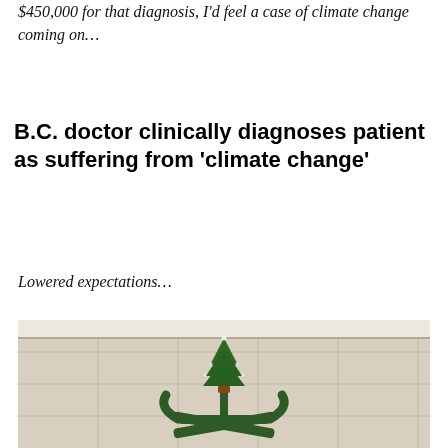$450,000 for that diagnosis, I’d feel a case of climate change coming on…
B.C. doctor clinically diagnoses patient as suffering from 'climate change'
Lowered expectations…
[Figure (photo): A tiny miniature Christmas tree placed on top of a large green metal Christmas tree stand on a tiled floor, humorously illustrating 'lowered expectations'.]